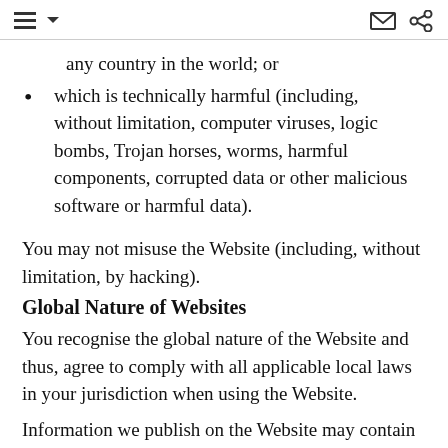[navigation icons: list/menu, envelope, share]
any country in the world; or
which is technically harmful (including, without limitation, computer viruses, logic bombs, Trojan horses, worms, harmful components, corrupted data or other malicious software or harmful data).
You may not misuse the Website (including, without limitation, by hacking).
Global Nature of Websites
You recognise the global nature of the Website and thus, agree to comply with all applicable local laws in your jurisdiction when using the Website.
Information we publish on the Website may contain references or cross-references to our services and/or products offered that are not announced or